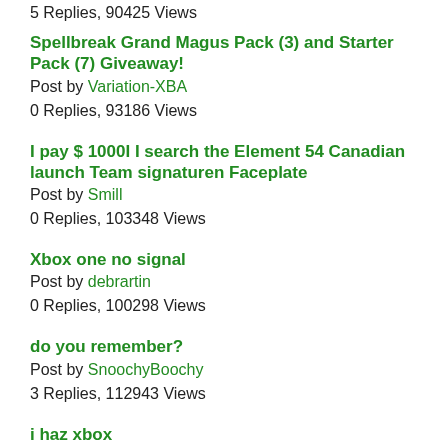5 Replies, 90425 Views
Spellbreak Grand Magus Pack (3) and Starter Pack (7) Giveaway!
Post by Variation-XBA
0 Replies, 93186 Views
I pay $ 1000I I search the Element 54 Canadian launch Team signaturen Faceplate
Post by Smill
0 Replies, 103348 Views
Xbox one no signal
Post by debrartin
0 Replies, 100298 Views
do you remember?
Post by SnoochyBoochy
3 Replies, 112943 Views
i haz xbox
Post by SnoochyBoochy
0 Replies, 84479 Views